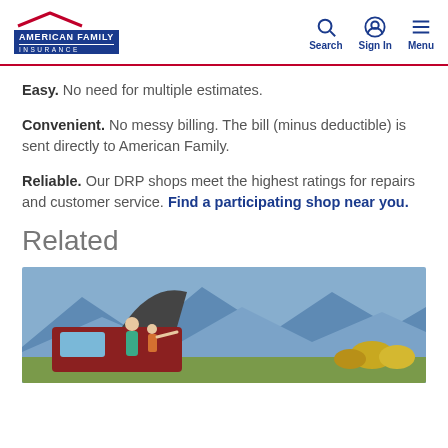American Family Insurance — Search, Sign In, Menu
Easy. No need for multiple estimates.
Convenient. No messy billing. The bill (minus deductible) is sent directly to American Family.
Reliable. Our DRP shops meet the highest ratings for repairs and customer service. Find a participating shop near you.
Related
[Figure (photo): A woman and child standing at the open trunk of a car with a scenic mountain backdrop, autumn foliage visible.]